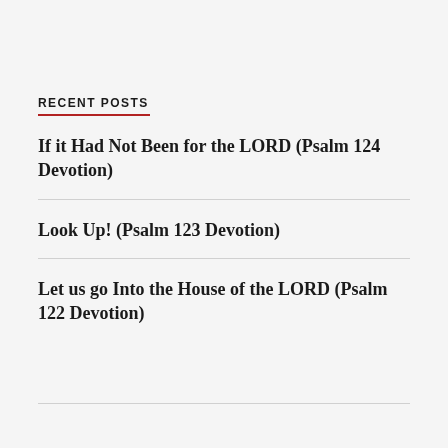RECENT POSTS
If it Had Not Been for the LORD (Psalm 124 Devotion)
Look Up! (Psalm 123 Devotion)
Let us go Into the House of the LORD (Psalm 122 Devotion)
TOP POSTS